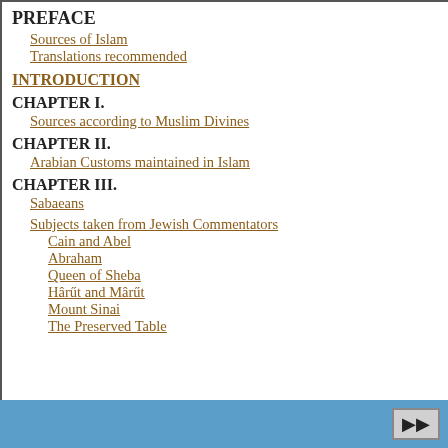PREFACE
Sources of Islam — vii
Translations recommended — xiii
INTRODUCTION — 1
CHAPTER I.
Sources according to Muslim Divines — 2
CHAPTER II.
Arabian Customs maintained in Islam — 4
CHAPTER III.
Sabaeans — 11
Subjects taken from Jewish Commentators — 11
Cain and Abel — 15
Abraham — 17
Queen of Sheba — 24
Hârűt and Mârűt — 33
Mount Sinai — 38
The Preserved Table — 41
CHAPTER IV.
Tales derived f...
The Seven S...
Mariam and...
Childhood o...
The Heaver...
The Paracle...
The Balance...
Abraham's A...
CHAPTER V.
Zoroastrian Su...
The Mirâj: ...
Heaven
Paradise an...
Azâzîl, the ...
The Light o...
Bridge Sira...
CHAPTER VI.
The Hanefites
Zeid
Successive Or...
The Saviour pr...